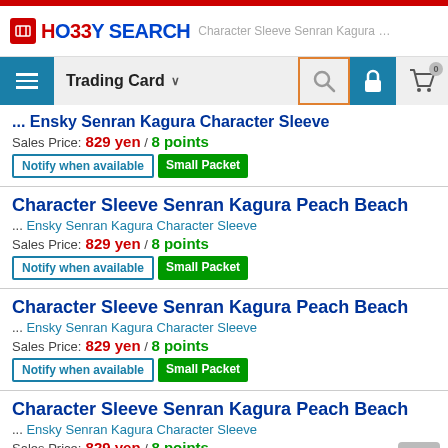HO33Y SEARCH — Character Sleeve Senran Kagura Pe...
Trading Card
... Ensky Senran Kagura Character Sleeve
Sales Price: 829 yen / 8 points
Notify when available | Small Packet
Character Sleeve Senran Kagura Peach Beach
... Ensky Senran Kagura Character Sleeve
Sales Price: 829 yen / 8 points
Notify when available | Small Packet
Character Sleeve Senran Kagura Peach Beach
... Ensky Senran Kagura Character Sleeve
Sales Price: 829 yen / 8 points
Notify when available | Small Packet
Character Sleeve Senran Kagura Peach Beach
... Ensky Senran Kagura Character Sleeve
Sales Price: 829 yen / 8 points
Notify when available | Small Packet
Character Sleeve Senran Kagura Peach Beach
... Ensky Senran Kagura Character Sleeve